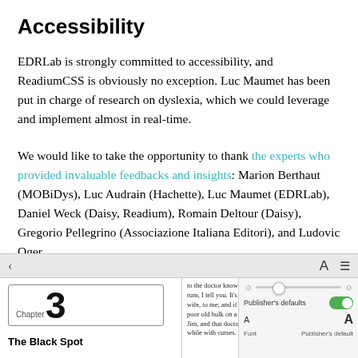Accessibility
EDRLab is strongly committed to accessibility, and ReadiumCSS is obviously no exception. Luc Maumet has been put in charge of research on dyslexia, which we could leverage and implement almost in real-time.
We would like to take the opportunity to thank the experts who provided invaluable feedbacks and insights: Marion Berthaut (MOBiDys), Luc Audrain (Hachette), Luc Maumet (EDRLab), Daniel Weck (Daisy, Readium), Romain Deltour (Daisy), Gregorio Pellegrino (Associazione Italiana Editori), and Ludovic Oger.
[Figure (screenshot): Screenshot of an ebook reader interface showing navigation bar at bottom with a left chevron, font size icon (A), and menu icon. Below is a two-panel view: left panel shows Chapter 3 'The Black Spot' with chapter number in a box; right panel shows small ebook text alongside a settings overlay with brightness slider, Publisher's defaults toggle (on/green), font size controls (small A and large A), and Font/Publisher's default labels.]